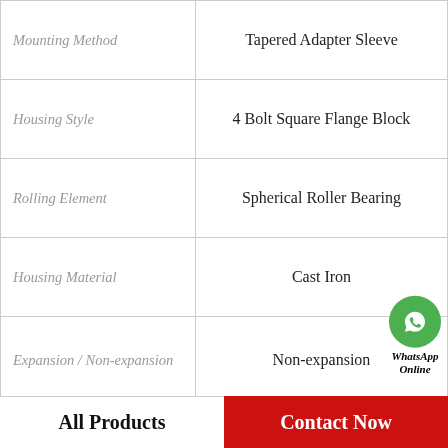| Property | Value |
| --- | --- |
| Mounting Method | Tapered Adapter Sleeve |
| Housing Style | 4 Bolt Square Flange Block |
| Rolling Element | Spherical Roller Bearing |
| Housing Material | Cast Iron |
| Expansion / Non-expansion | Non-expansion |
| Mounting Bolts | 7/8 Inch |
| Relubricatable | Yes |
| Insert Part Number | 6315U |
All Products
Contact Now